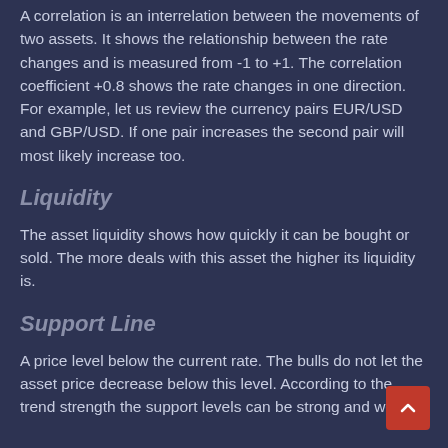A correlation is an interrelation between the movements of two assets. It shows the relationship between the rate changes and is measured from -1 to +1. The correlation coefficient +0.8 shows the rate changes in one direction. For example, let us review the currency pairs EUR/USD and GBP/USD. If one pair increases the second pair will most likely increase too.
Liquidity
The asset liquidity shows how quickly it can be bought or sold. The more deals with this asset the higher its liquidity is.
Support Line
A price level below the current rate. The bulls do not let the asset price decrease below this level. According to the trend strength the support levels can be strong and weak.